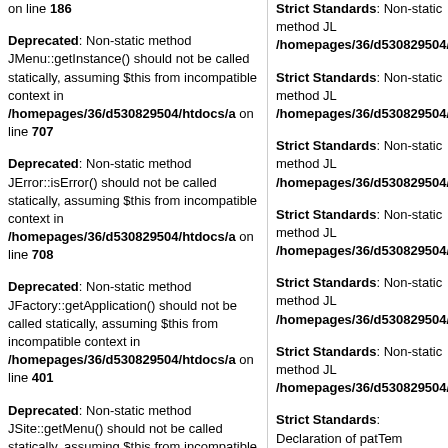on line 186
Deprecated: Non-static method JMenu::getInstance() should not be called statically, assuming $this from incompatible context in /homepages/36/d530829504/htdocs/a on line 707
Deprecated: Non-static method JError::isError() should not be called statically, assuming $this from incompatible context in /homepages/36/d530829504/htdocs/a on line 708
Deprecated: Non-static method JFactory::getApplication() should not be called statically, assuming $this from incompatible context in /homepages/36/d530829504/htdocs/a on line 401
Deprecated: Non-static method JSite::getMenu() should not be called statically, assuming $this from incompatible context in /homepages/36/d530829504/htdocs/a on line 295
Strict Standards: Non-static method JL /homepages/36/d530829504/htdocs/a
Strict Standards: Non-static method JL /homepages/36/d530829504/htdocs/a
Strict Standards: Non-static method JL /homepages/36/d530829504/htdocs/a
Strict Standards: Non-static method JL /homepages/36/d530829504/htdocs/a
Strict Standards: Non-static method JL /homepages/36/d530829504/htdocs/a
Strict Standards: Non-static method JL /homepages/36/d530829504/htdocs/a
Strict Standards: Declaration of patTemplate_Reader::readTemplates($i /homepages/36/d530829504/htdocs/a
Strict Standards: Declaration of patTemplate_Reader::loadTemplate($in /homepages/36/d530829504/htdocs/a
Deprecated: Non-static method patError in /homepages/36/d530829504/htdocs/a